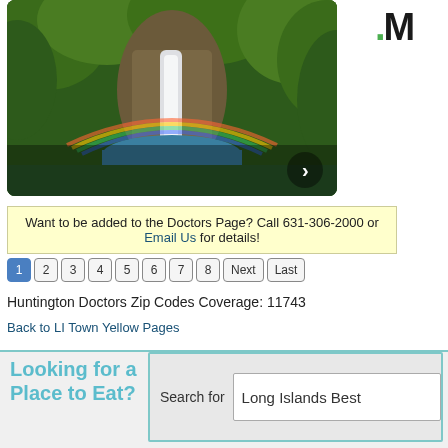[Figure (photo): Waterfall with rainbow in lush tropical green landscape]
Want to be added to the Doctors Page? Call 631-306-2000 or Email Us for details!
1 2 3 4 5 6 7 8 Next Last
Huntington Doctors Zip Codes Coverage: 11743
Back to LI Town Yellow Pages
Looking for a Place to Eat?
Search for Long Islands Best